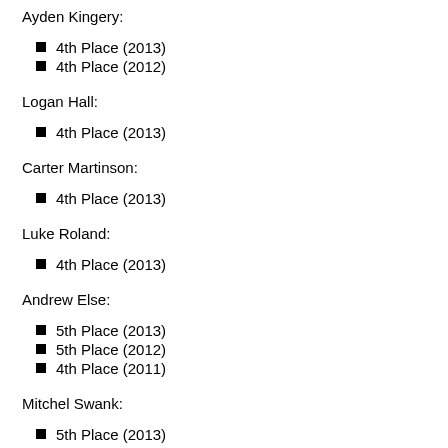Ayden Kingery:
4th Place (2013)
4th Place (2012)
Logan Hall:
4th Place (2013)
Carter Martinson:
4th Place (2013)
Luke Roland:
4th Place (2013)
Andrew Else:
5th Place (2013)
5th Place (2012)
4th Place (2011)
Mitchel Swank:
5th Place (2013)